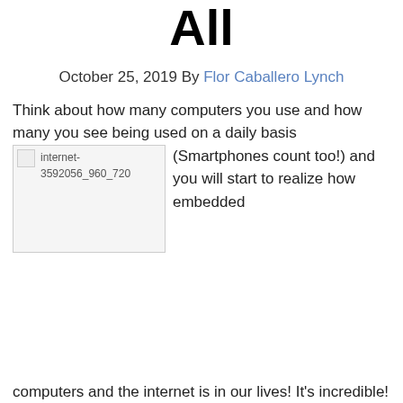All
October 25, 2019 By Flor Caballero Lynch
Think about how many computers you use and how many you see being used on a daily basis (Smartphones count too!) and you will start to realize how embedded computers and the internet is in our lives! It's incredible!
[Figure (photo): Broken image placeholder labeled internet-3592056_960_720]